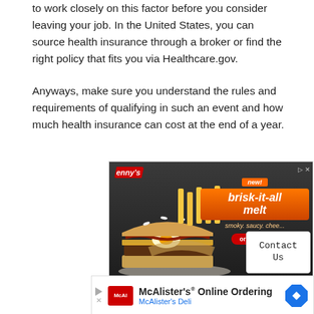to work closely on this factor before you consider leaving your job. In the United States, you can source health insurance through a broker or find the right policy that fits you via Healthcare.gov.
Anyways, make sure you understand the rules and requirements of qualifying in such an event and how much health insurance can cost at the end of a year.
[Figure (photo): Denny's advertisement showing a brisk-it-all melt sandwich with fries. Text reads 'new! brisk-it-all melt. smoky. saucy. cheesy. order now.' with play/close controls at top right.]
[Figure (photo): Contact Us widget with white box and rounded corners, partially overlapping the Denny's ad.]
[Figure (screenshot): McAlister's Deli advertisement banner: 'McAlister's® Online Ordering' with McAlister's Deli subtitle and blue diamond logo. TV badge in corner.]